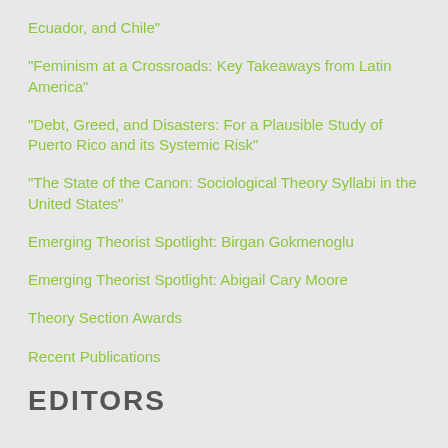Ecuador, and Chile"
"Feminism at a Crossroads: Key Takeaways from Latin America"
"Debt, Greed, and Disasters: For a Plausible Study of Puerto Rico and its Systemic Risk"
"The State of the Canon: Sociological Theory Syllabi in the United States"
Emerging Theorist Spotlight: Birgan Gokmenoglu
Emerging Theorist Spotlight: Abigail Cary Moore
Theory Section Awards
Recent Publications
EDITORS